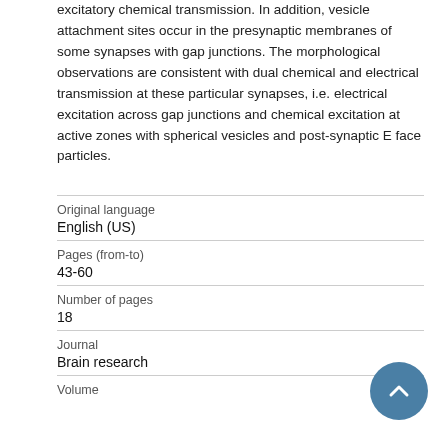excitatory chemical transmission. In addition, vesicle attachment sites occur in the presynaptic membranes of some synapses with gap junctions. The morphological observations are consistent with dual chemical and electrical transmission at these particular synapses, i.e. electrical excitation across gap junctions and chemical excitation at active zones with spherical vesicles and post-synaptic E face particles.
| Field | Value |
| --- | --- |
| Original language | English (US) |
| Pages (from-to) | 43-60 |
| Number of pages | 18 |
| Journal | Brain research |
| Volume |  |